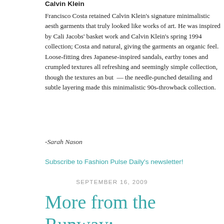Calvin Klein
Francisco Costa retained Calvin Klein's signature minimalistic aesthetic, garments that truly looked like works of art. He was inspired by Calvin Jacobs' basket work and Calvin Klein's spring 1994 collection; Costa and natural, giving the garments an organic feel. Loose-fitting dresses, Japanese-inspired sandals, earthy tones and crumpled textures all refreshing and seemingly simple collection, though the textures and but — the needle-punched detailing and subtle layering made this minimalistic 90s-throwback collection.
-Sarah Nason
Subscribe to Fashion Pulse Daily's newsletter!
SEPTEMBER 16, 2009
More from the Runway: Idea, Douglas Hannant